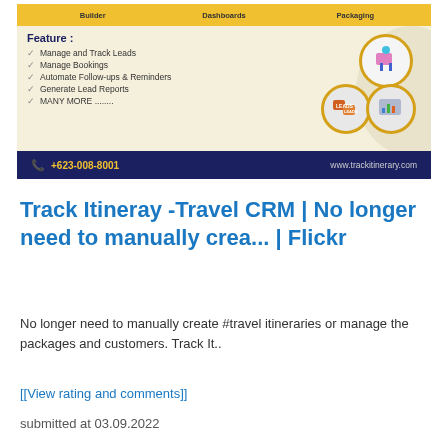[Figure (infographic): Travel CRM promotional banner showing features: Manage and Track Leads, Manage Bookings, Automate Follow-ups & Reminders, Generate Lead Reports, MANY MORE. Phone: +623-008-8001, website: www.trackitinerary.com]
Track Itineray -Travel CRM | No longer need to manually crea... | Flickr
No longer need to manually create #travel itineraries or manage the packages and customers. Track It..
[[View rating and comments]]
submitted at 03.09.2022